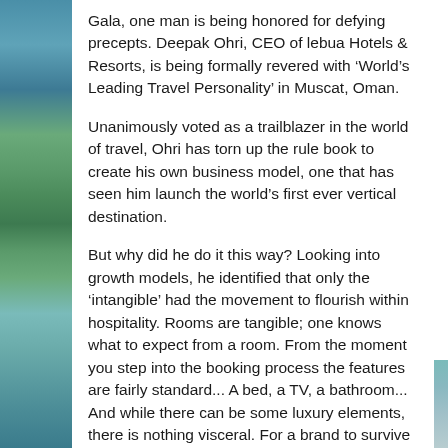Gala, one man is being honored for defying precepts. Deepak Ohri, CEO of lebua Hotels & Resorts, is being formally revered with ‘World’s Leading Travel Personality’ in Muscat, Oman.
Unanimously voted as a trailblazer in the world of travel, Ohri has torn up the rule book to create his own business model, one that has seen him launch the world’s first ever vertical destination.
But why did he do it this way? Looking into growth models, he identified that only the ‘intangible’ had the movement to flourish within hospitality. Rooms are tangible; one knows what to expect from a room. From the moment you step into the booking process the features are fairly standard... A bed, a TV, a bathroom... And while there can be some luxury elements, there is nothing visceral. For a brand to survive it needs strong fundamentals, which are not formed through typical tangible features...